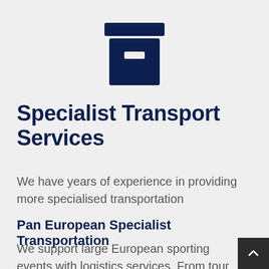[Figure (illustration): Dark navy blue archive/storage box icon with a lid on top and a small rectangular label slot on the front]
Specialist Transport Services
We have years of experience in providing more specialised transportation
Pan European Specialist Transportation
We support large European sporting events with logistics services. From tour support to corporate events and